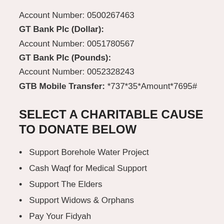Account Number: 0500267463
GT Bank Plc (Dollar):
Account Number: 0051780567
GT Bank Plc (Pounds):
Account Number: 0052328243
GTB Mobile Transfer: *737*35*Amount*7695#
SELECT A CHARITABLE CAUSE TO DONATE BELOW
Support Borehole Water Project
Cash Waqf for Medical Support
Support The Elders
Support Widows & Orphans
Pay Your Fidyah
Pay Your Sadaqat...